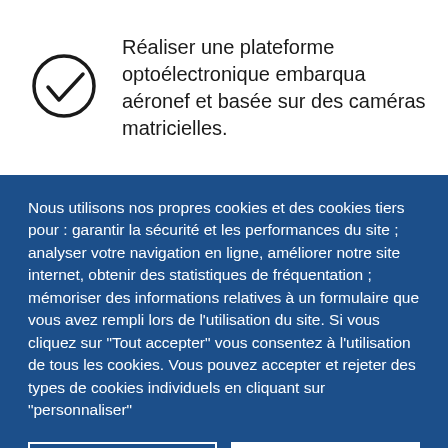Réaliser une plateforme optoélectronique embarquée sur aéronef et basée sur des caméras matricielles.
Nous utilisons nos propres cookies et des cookies tiers pour : garantir la sécurité et les performances du site ; analyser votre navigation en ligne, améliorer notre site internet, obtenir des statistiques de fréquentation ; mémoriser des informations relatives à un formulaire que vous avez rempli lors de l'utilisation du site. Si vous cliquez sur "Tout accepter" vous consentez à l'utilisation de tous les cookies. Vous pouvez accepter et rejeter des types de cookies individuels en cliquant sur "personnaliser"
PERSONNALISER
TOUT ACCEPTER